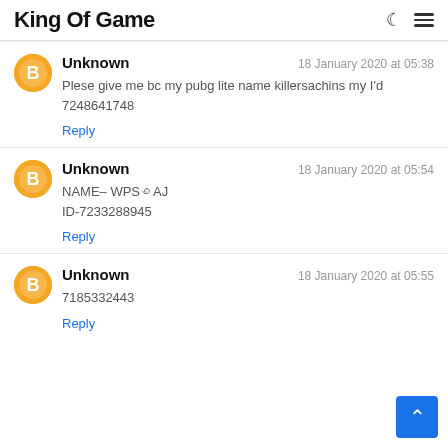King Of Game
Unknown — 18 January 2020 at 05:38
Plese give me bc my pubg lite name killersachins my I'd 7248641748
Reply
Unknown — 18 January 2020 at 05:54
NAME– WPS꩜AJ
ID-7233288945
Reply
Unknown — 18 January 2020 at 05:55
7185332443
Reply